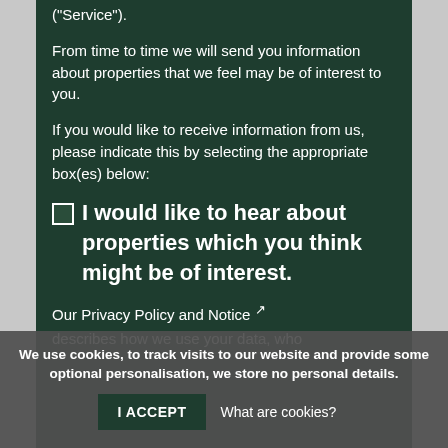service through this website ("Service").
From time to time we will send you information about properties that we feel may be of interest to you.
If you would like to receive information from us, please indicate this by selecting the appropriate box(es) below:
I would like to hear about properties which you think might be of interest.
Our Privacy Policy and Notice describes how we use your data, who
We use cookies, to track visits to our website and provide some optional personalisation, we store no personal details.
I ACCEPT   What are cookies?